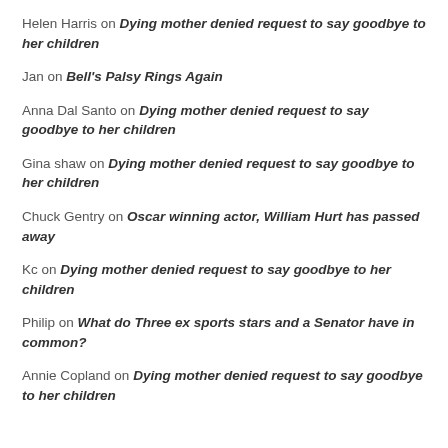Helen Harris on Dying mother denied request to say goodbye to her children
Jan on Bell's Palsy Rings Again
Anna Dal Santo on Dying mother denied request to say goodbye to her children
Gina shaw on Dying mother denied request to say goodbye to her children
Chuck Gentry on Oscar winning actor, William Hurt has passed away
Kc on Dying mother denied request to say goodbye to her children
Philip on What do Three ex sports stars and a Senator have in common?
Annie Copland on Dying mother denied request to say goodbye to her children